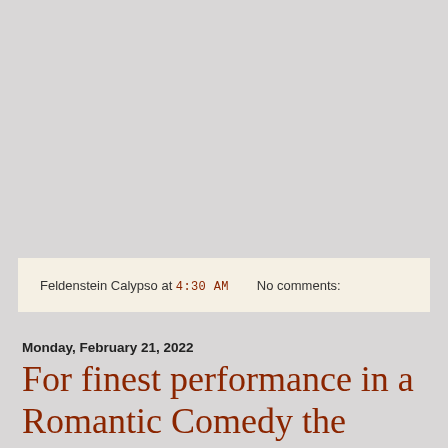Feldenstein Calypso at 4:30 AM    No comments:
Monday, February 21, 2022
For finest performance in a Romantic Comedy the award goes to...